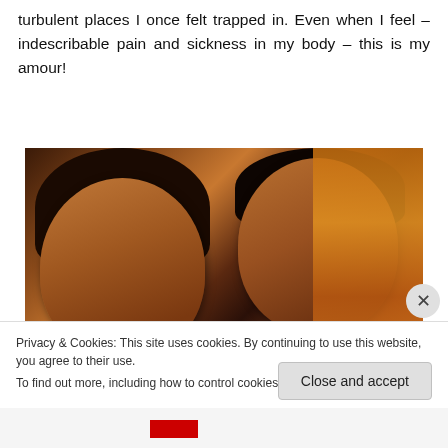turbulent places I once felt trapped in. Even when I feel – indescribable pain and sickness in my body – this is my amour!
[Figure (photo): Two women taking a selfie-style photo in what appears to be a bar or restaurant setting, with shelves of bottles visible in the background.]
Privacy & Cookies: This site uses cookies. By continuing to use this website, you agree to their use.
To find out more, including how to control cookies, see here: Cookie Policy
Close and accept